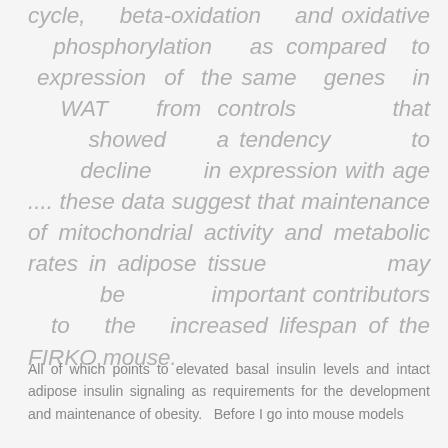cycle, beta-oxidation and oxidative phosphorylation as compared to expression of the same genes in WAT from controls that showed a tendency to decline in expression with age .... these data suggest that maintenance of mitochondrial activity and metabolic rates in adipose tissue may be important contributors to the increased lifespan of the FIRKO mouse.
All of which points to elevated basal insulin levels and intact adipose insulin signaling as requirements for the development and maintenance of obesity.  Before I go into mouse models